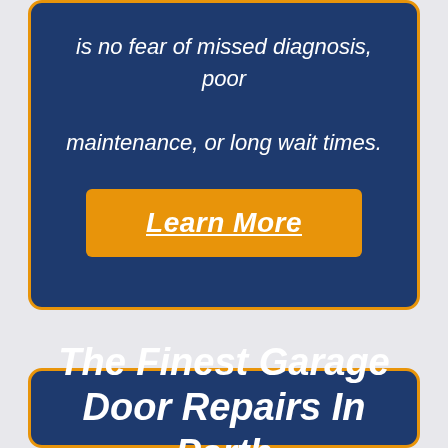is no fear of missed diagnosis, poor maintenance, or long wait times.
[Figure (infographic): Orange button with white bold italic underlined text 'Learn More']
The Finest Garage Door Repairs In Perth